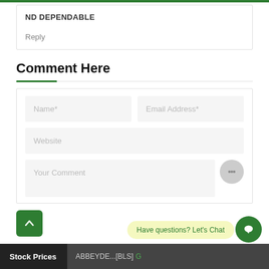ND DEPENDABLE
Reply
Comment Here
[Figure (screenshot): Comment form with Name, Email Address, Website, and Your Comment fields]
Stock Prices   ABBEYDE...[BLS]